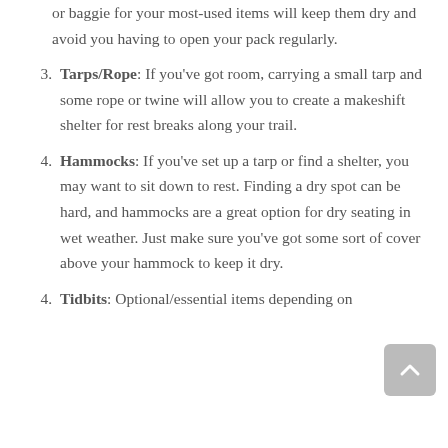or baggie for your most-used items will keep them dry and avoid you having to open your pack regularly.
Tarps/Rope: If you've got room, carrying a small tarp and some rope or twine will allow you to create a makeshift shelter for rest breaks along your trail.
Hammocks: If you've set up a tarp or find a shelter, you may want to sit down to rest. Finding a dry spot can be hard, and hammocks are a great option for dry seating in wet weather. Just make sure you've got some sort of cover above your hammock to keep it dry.
Tidbits: Optional/essential items depending on